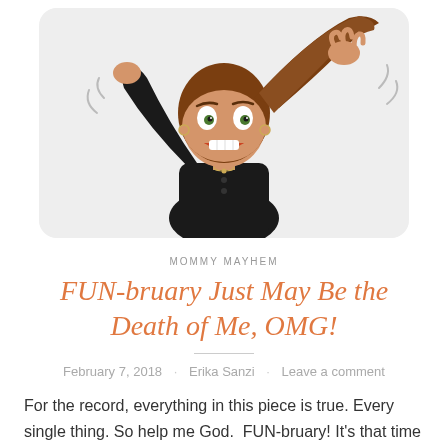[Figure (illustration): Cartoon illustration of a stressed woman with brown hair in a black outfit, pulling her hair with both hands raised, mouth open with gritted teeth, green eyes wide open, set against a light gray rounded rectangle background]
MOMMY MAYHEM
FUN-bruary Just May Be the Death of Me, OMG!
February 7, 2018 · Erika Sanzi · Leave a comment
For the record, everything in this piece is true. Every single thing. So help me God.  FUN-bruary! It's that time of year when many schools shift into fun mode and each